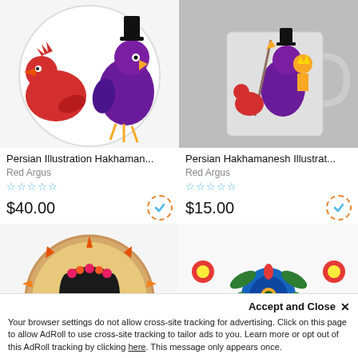[Figure (photo): Product image: Persian illustration with colorful bird characters on a round plate/clock - red rooster, purple bird with hat]
Persian Illustration Hakhaman...
Red Argus
☆☆☆☆☆
$40.00
[Figure (photo): Product image: Persian Hakhamanesh illustration on a mug - bird characters with spear]
Persian Hakhamanesh Illustrat...
Red Argus
☆☆☆☆☆
$15.00
[Figure (photo): Product image: Round wall clock with Persian illustration of a woman with flower crown]
[Figure (photo): Product image: Fabric/blanket with colorful Persian folk art pattern - flowers, peacock motifs in green, orange, red]
Accept and Close ✕
Your browser settings do not allow cross-site tracking for advertising. Click on this page to allow AdRoll to use cross-site tracking to tailor ads to you. Learn more or opt out of this AdRoll tracking by clicking here. This message only appears once.